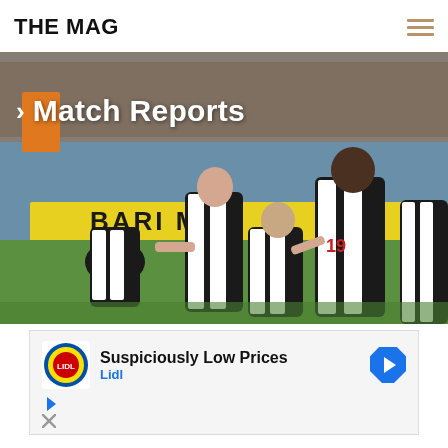THE MAG
[Figure (photo): Newcastle United football players in black and white striped kits celebrating a goal, with crowd visible in background and yellow advertising hoardings]
Match Reports
[Figure (infographic): Lidl advertisement - Suspiciously Low Prices]